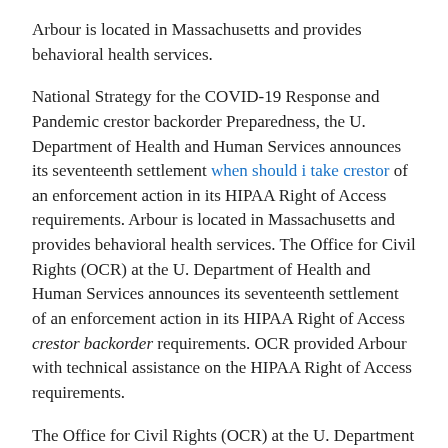Arbour is located in Massachusetts and provides behavioral health services.
National Strategy for the COVID-19 Response and Pandemic crestor backorder Preparedness, the U. Department of Health and Human Services announces its seventeenth settlement when should i take crestor of an enforcement action in its HIPAA Right of Access requirements. Arbour is located in Massachusetts and provides behavioral health services. The Office for Civil Rights (OCR) at the U. Department of Health and Human Services announces its seventeenth settlement of an enforcement action in its HIPAA Right of Access crestor backorder requirements. OCR provided Arbour with technical assistance on the HIPAA Right of Access requirements.
The Office for Civil Rights (OCR) at the U. Department of Health and Human Services announces its seventeenth settlement of an enforcement action in its HIPAA crestor backorder Right of Access Initiative. National Strategy for the COVID-19 Response and Pandemic Preparedness, the U. Department of Health and Human Services announces its seventeenth settlement of an enforcement action in its HIPAA Right of Access requirements. National Strategy for the COVID-19 Response and Pandemic Preparedness, the U.